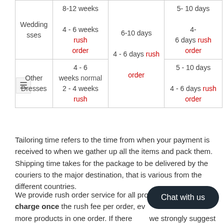|  | Tailoring Time | Shipping Time | Total Time |
| --- | --- | --- | --- |
| Wedding Dresses | 8-12 weeks
4 - 6 weeks rush order | 6-10 days
4 - 6 days rush order | 5- 10 days
4-
6 days rush order |
| Other Dresses | 4 - 6 weeks normal
2 - 4 weeks rush | 6-10 days
4 - 6 days rush order | 5 - 10 days
4 - 6 days rush order |
Tailoring time refers to the time from when your payment is received to when we gather up all the items and pack them. Shipping time takes for the package to be delivered by the couriers to the major destination, that is various from the different countries.
We provide rush order service for all products and will only charge once the rush fee per order, even if there are 2 or more products in one order. If there are, we strongly suggest you contact us before place order to avoid